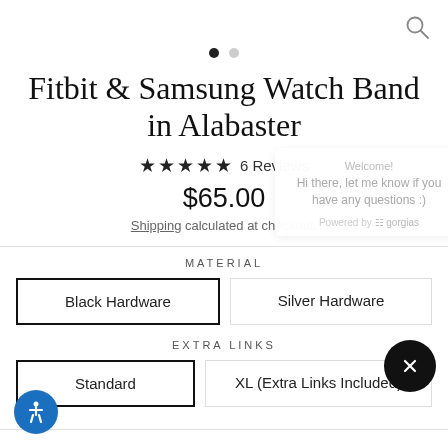[Figure (other): Search icon (magnifying glass) in top right corner]
[Figure (other): Pagination dots: one filled black, one grey]
Fitbit & Samsung Watch Band in Alabaster
★★★★★ 6 Reviews
$65.00
Shipping calculated at checkout.
MATERIAL
Black Hardware
Silver Hardware
EXTRA LINKS
Standard
XL (Extra Links Included)
Welcome!
Hi there, let me know if you have any questions :)
Powered by gorgias